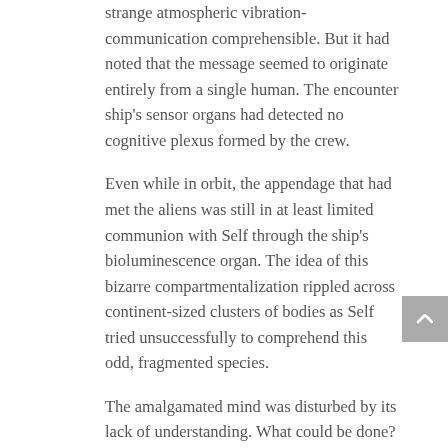strange atmospheric vibration-communication comprehensible. But it had noted that the message seemed to originate entirely from a single human. The encounter ship's sensor organs had detected no cognitive plexus formed by the crew.
Even while in orbit, the appendage that had met the aliens was still in at least limited communion with Self through the ship's bioluminescence organ. The idea of this bizarre compartmentalization rippled across continent-sized clusters of bodies as Self tried unsuccessfully to comprehend this odd, fragmented species.
The amalgamated mind was disturbed by its lack of understanding. What could be done? The question electrochemically knifed across the surface of the world. Almost instantly, the only viable answer followed.